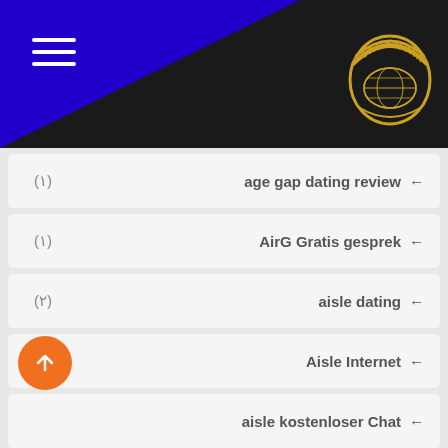[Figure (logo): Jahanyar logo badge in gold on dark background with hamburger menu icon, dark background with blue triangle]
age gap dating review (1)
AirG Gratis gesprek (1)
aisle dating (2)
Aisle Internet (1)
aisle kostenloser Chat
Aisle visitors (2)